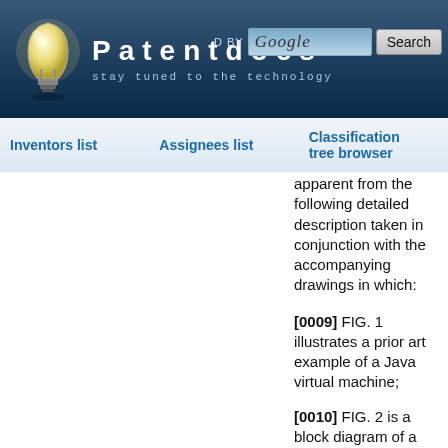Patentdocs — stay tuned to the technology
Inventors list | Assignees list | Classification tree browser
apparent from the following detailed description taken in conjunction with the accompanying drawings in which:
[0009] FIG. 1 illustrates a prior art example of a Java virtual machine;
[0010] FIG. 2 is a block diagram of a distributed Java virtual machine;
[0011] FIG. 3 is a diagram of the prior art method;
[0012] FIG. 4 is a diagram of a synchronous method for